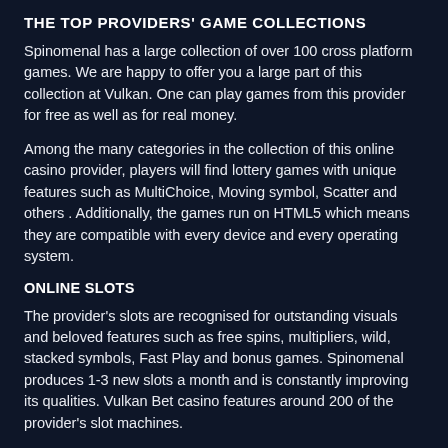THE TOP PROVIDERS' GAME COLLECTIONS
Spinomenal has a large collection of over 100 cross platform games. We are happy to offer you a large part of this collection at Vulkan. One can play games from this provider for free as well as for real money.
Among the many categories in the collection of this online casino provider, players will find lottery games with unique features such as MultiChoice, Moving symbol, Scatter and others . Additionally, the games run on HTML5 which means they are compatible with every device and every operating system.
ONLINE SLOTS
The provider's slots are recognised for outstanding visuals and beloved features such as free spins, multipliers, wild, stacked symbols, Fast Play and bonus games. Spinomenal produces 1-3 new slots a month and is constantly improving its qualities. Vulkan Bet casino features around 200 of the provider's slot machines.
Some of the most famous ones include: Demi God I-IV, Book of Clovers, Fruits on Ice, Age of Pirates, Zombie